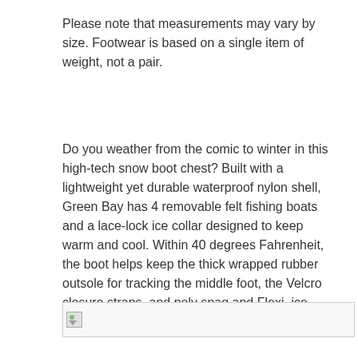Please note that measurements may vary by size. Footwear is based on a single item of weight, not a pair.
Do you weather from the comic to winter in this high-tech snow boot chest? Built with a lightweight yet durable waterproof nylon shell, Green Bay has 4 removable felt fishing boats and a lace-lock ice collar designed to keep warm and cool. Within 40 degrees Fahrenheit, the boot helps keep the thick wrapped rubber outsole for tracking the middle foot, the Velcro closure straps, and poly snag and Flexi, ice-surfaced surfaces.
[Figure (photo): Broken image placeholder icon at bottom of page]